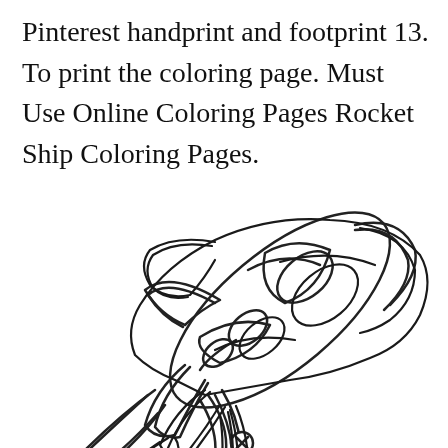Pinterest handprint and footprint 13. To print the coloring page. Must Use Online Coloring Pages Rocket Ship Coloring Pages.
[Figure (illustration): A black and white coloring page illustration of a rocket ship flying diagonally, with two oval windows, fins on the side, and exhaust flames at the bottom. A small circle with an X symbol appears at the very bottom center.]